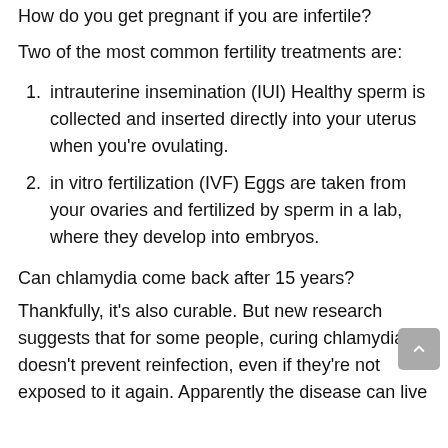How do you get pregnant if you are infertile?
Two of the most common fertility treatments are:
intrauterine insemination (IUI) Healthy sperm is collected and inserted directly into your uterus when you're ovulating.
in vitro fertilization (IVF) Eggs are taken from your ovaries and fertilized by sperm in a lab, where they develop into embryos.
Can chlamydia come back after 15 years? Thankfully, it's also curable. But new research suggests that for some people, curing chlamydia doesn't prevent reinfection, even if they're not exposed to it again. Apparently the disease can live